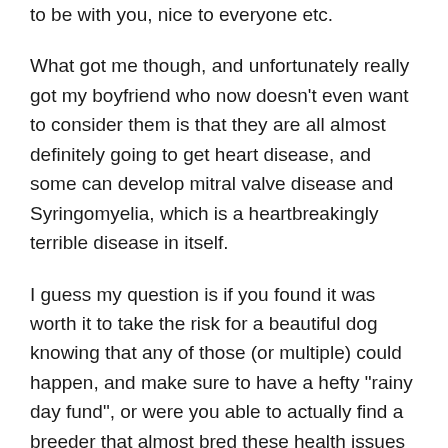to be with you, nice to everyone etc.
What got me though, and unfortunately really got my boyfriend who now doesn’t even want to consider them is that they are all almost definitely going to get heart disease, and some can develop mitral valve disease and Syringomyelia, which is a heartbreakingly terrible disease in itself.
I guess my question is if you found it was worth it to take the risk for a beautiful dog knowing that any of those (or multiple) could happen, and make sure to have a hefty “rainy day fund”, or were you able to actually find a breeder that almost bred these health issues out of the breed?
Since this initially...